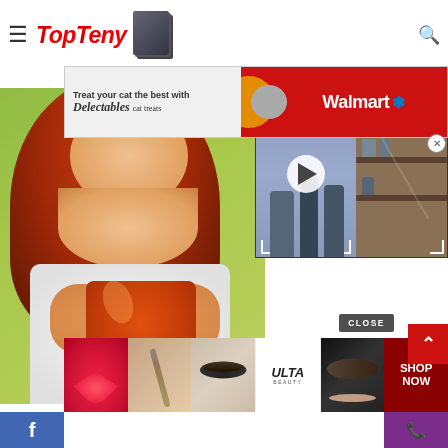TopTeny
[Figure (screenshot): Partial article preview text at top right]
[Figure (photo): Walmart Delectables cat treats advertisement banner - Treat your cat the best with Delectables cat treats, Walmart logo on red background]
[Figure (photo): Main editorial photo: smiling red-haired woman holding an orange mug, set against green blurred background]
[Figure (screenshot): Embedded video thumbnail showing two people standing, with play button overlay and wooden cabinet background on right half]
CLOSE
[Figure (photo): Bottom advertisement strip showing beauty product thumbnails: lips, makeup brush, eye makeup, ULTA Beauty logo, eye makeup, SHOP NOW red button]